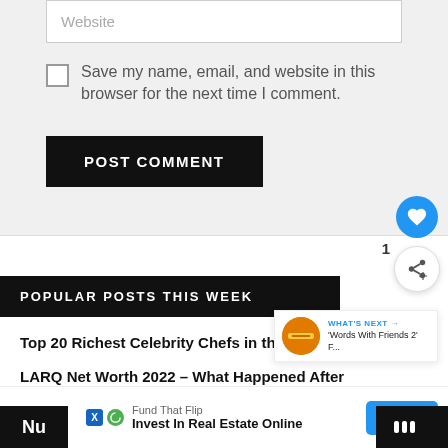Website
Save my name, email, and website in this browser for the next time I comment.
POST COMMENT
POPULAR POSTS THIS WEEK
Top 20 Richest Celebrity Chefs in the World as of 2022
LARQ Net Worth 2022 – What Happened After Tank?
[Figure (screenshot): Floating heart icon (blue circle), share icon, count '1', and 'What's Next' panel showing Words With Friends 2]
Fund That Flip — Invest In Real Estate Online — OPEN